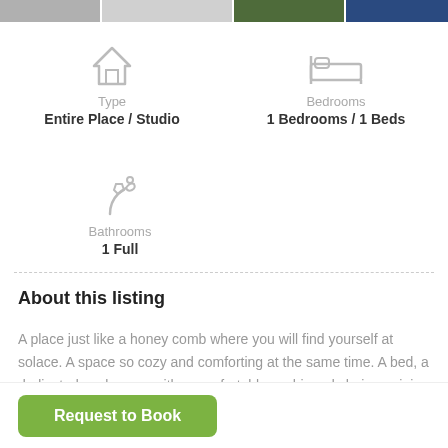[Figure (photo): Top image strip showing property photos]
Type
Entire Place / Studio
Bedrooms
1 Bedrooms / 1 Beds
Bathrooms
1 Full
About this listing
A place just like a honey comb where you will find yourself at solace. A space so cozy and comforting at the same time. A bed, a dedicated workspace with a comfortable cushioned chair, a mini closet, a mini refrigerator, a washing machine, a
Request to Book